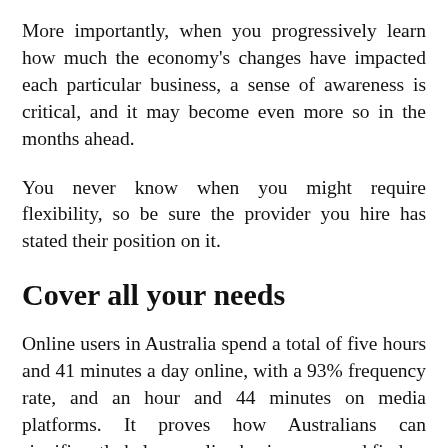More importantly, when you progressively learn how much the economy's changes have impacted each particular business, a sense of awareness is critical, and it may become even more so in the months ahead.
You never know when you might require flexibility, so be sure the provider you hire has stated their position on it.
Cover all your needs
Online users in Australia spend a total of five hours and 41 minutes a day online, with a 93% frequency rate, and an hour and 44 minutes on media platforms. It proves how Australians can significantly help an online business expand find